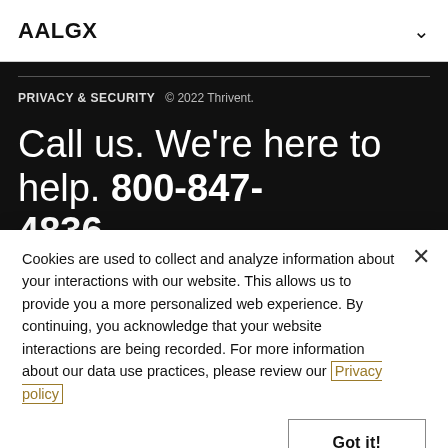AALGX
PRIVACY & SECURITY  © 2022 Thrivent.
Call us. We're here to help. 800-847-4836
Monday through Friday: 7am–6pm central. When calling,
Cookies are used to collect and analyze information about your interactions with our website. This allows us to provide you a more personalized web experience. By continuing, you acknowledge that your website interactions are being recorded. For more information about our data use practices, please review our Privacy policy
Got it!